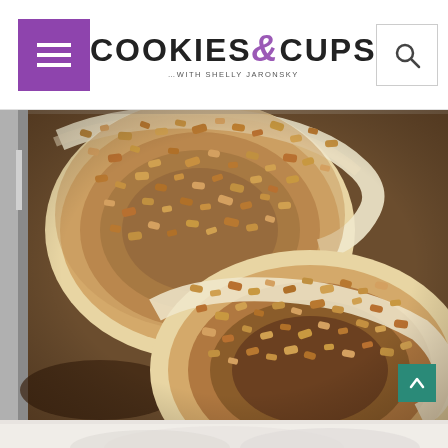Cookies & Cups — with Shelly Jaronsky
[Figure (photo): Close-up of cinnamon rolls topped with a brown sugar streusel/crumble topping in a baking pan, photographed from above at an angle. The rolls show pale dough edges with a generous layer of crumbly, golden-brown streusel on top.]
[Figure (photo): Partial bottom image, appears to be flour or a white powdery ingredient in a bowl, cropped at the very bottom of the page.]